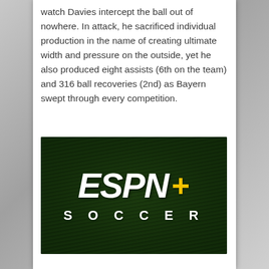watch Davies intercept the ball out of nowhere. In attack, he sacrificed individual production in the name of creating ultimate width and pressure on the outside, yet he also produced eight assists (6th on the team) and 316 ball recoveries (2nd) as Bayern swept through every competition.
[Figure (logo): ESPN+ Soccer logo on dark green grass background. White bold italic letters spelling ESPN with a yellow/gold plus sign, and SOCCER spelled out in white spaced letters below.]